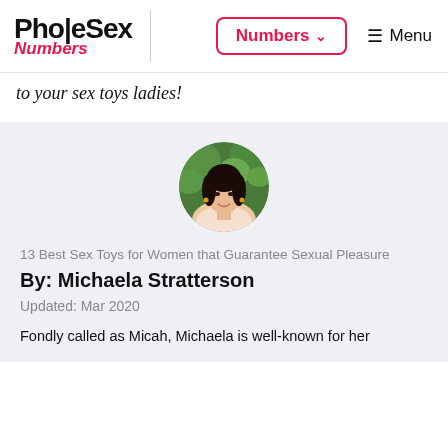PholeSex Numbers | Numbers ∨  ☰ Menu
to your sex toys ladies!
[Figure (photo): Circular portrait photo of Michaela Stratterson, a dark-haired woman smiling, outdoors with green foliage background]
13 Best Sex Toys for Women that Guarantee Sexual Pleasure
By: Michaela Stratterson
Updated: Mar 2020
Fondly called as Micah, Michaela is well-known for her